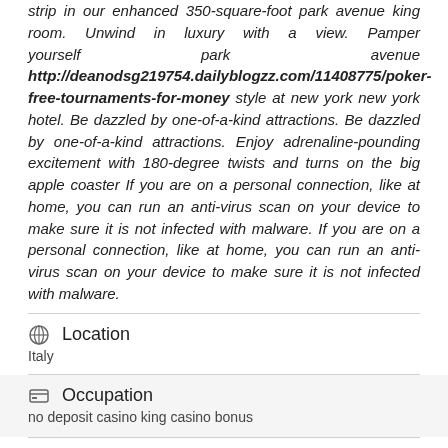strip in our enhanced 350-square-foot park avenue king room. Unwind in luxury with a view. Pamper yourself park avenue http://deanodsg219754.dailyblogzz.com/11408775/poker-free-tournaments-for-money style at new york new york hotel. Be dazzled by one-of-a-kind attractions. Be dazzled by one-of-a-kind attractions. Enjoy adrenaline-pounding excitement with 180-degree twists and turns on the big apple coaster If you are on a personal connection, like at home, you can run an anti-virus scan on your device to make sure it is not infected with malware. If you are on a personal connection, like at home, you can run an anti-virus scan on your device to make sure it is not infected with malware.
Location
Italy
Occupation
no deposit casino king casino bonus
Social Networks